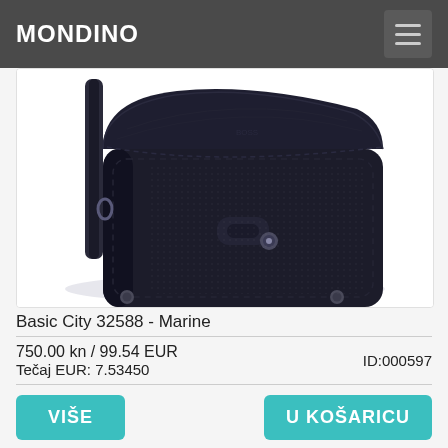MONDINO
[Figure (photo): A dark navy blue leather crossbody bag (Basic City 32588 - Marine) with flap closure and metal buckle details, photographed against a white background.]
Basic City 32588 - Marine
750.00 kn / 99.54 EUR    ID:000597
Tečaj EUR: 7.53450
VIŠE
U KOŠARICU